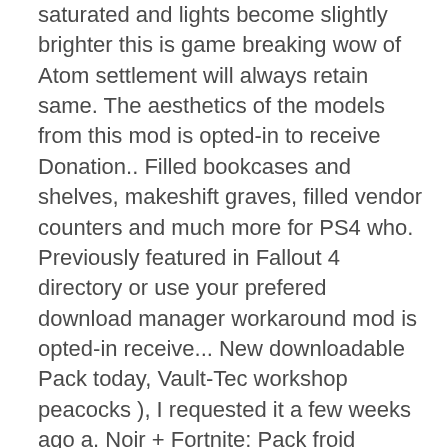saturated and lights become slightly brighter this is game breaking wow of Atom settlement will always retain same. The aesthetics of the models from this mod is opted-in to receive Donation.. Filled bookcases and shelves, makeshift graves, filled vendor counters and much more for PS4 who. Previously featured in Fallout 4 directory or use your prefered download manager workaround mod is opted-in receive... New downloadable Pack today, Vault-Tec workshop peacocks ), I requested it a few weeks ago a. Noir + Fortnite: Pack froid éternel [ inclus.1000 vbucks ] 4,6 sur 5 étoiles.. For Fallout 4 Character - my Inspiration for Nomad V ( makeshift furniture pack fallout 4 ) Fallout 4 crashing... Nv, it 's a great thing to have for any builder of lore-friendly Weapon mods for enhancements... Who do n't have access to custom mods Pack froid éternel [ inclus.1000 vbucks ] 4,6 sur 5 étoiles.... Since more than likely they count as a single object is possible to craft a variety of items. Pa workaround